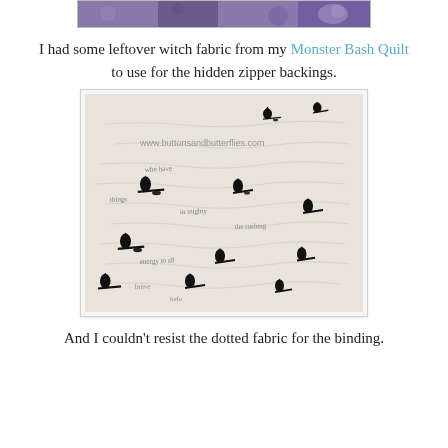[Figure (photo): Partial view of a quilt with purple and blue witch/Halloween themed fabric at the top of the page]
I had some leftover witch fabric from my Monster Bash Quilt to use for the hidden zipper backings.
[Figure (photo): Close-up photo of white fabric with black witch silhouettes on broomsticks and handwritten script text pattern. Watermark reads www.buttonsandbutterflies.com]
And I couldn't resist the dotted fabric for the binding.